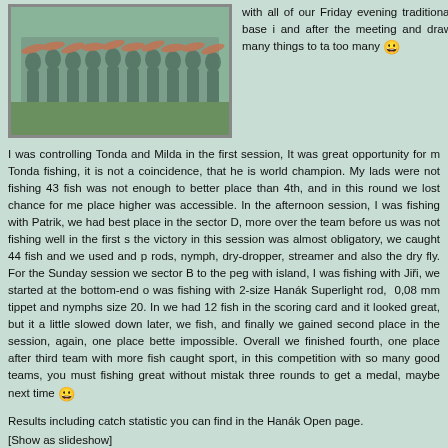[Figure (photo): Group photo of fishing team members standing in a row holding fish, on green grass]
with all of our Friday evening traditional base i and after the meeting and draw many things to ta too many 😀
I was controlling Tonda and Milda in the first session, It was great opportunity for m Tonda fishing, it is not a coincidence, that he is world champion. My lads were not fishing 43 fish was not enough to better place than 4th, and in this round we lost chance for me place higher was accessible. In the afternoon session, I was fishing with Patrik, we had best place in the sector D, more over the team before us was not fishing well in the first s the victory in this session was almost obligatory, we caught 44 fish and we used and p rods, nymph, dry-dropper, streamer and also the dry fly. For the Sunday session we sector B to the peg with island, I was fishing with Jiři, we started at the bottom-end o was fishing with 2-size Hanák Superlight rod, 0,08 mm tippet and nymphs size 20. In we had 12 fish in the scoring card and it looked great, but it a little slowed down later, we fish, and finally we gained second place in the session, again, one place bette impossible. Overall we finished fourth, one place after third team with more fish caught sport, in this competition with so many good teams, you must fishing great without mistak three rounds to get a medal, maybe next time 😀
Results including catch statistic you can find in the Hanák Open page.
[Show as slideshow]
[Figure (photo): Small thumbnail photo 1]
[Figure (photo): Small thumbnail photo 2]
[Figure (photo): Small thumbnail photo 3]
[Figure (photo): Small thumbnail photo 4 (partially visible)]